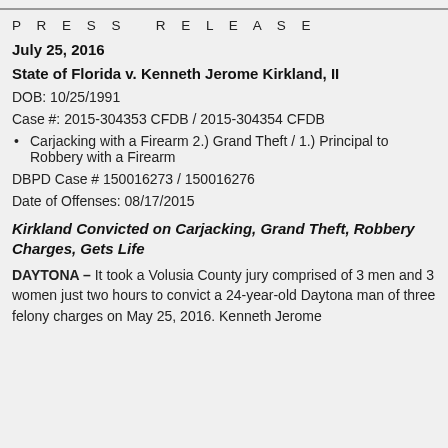PRESS RELEASE
July 25, 2016
State of Florida v. Kenneth Jerome Kirkland, II
DOB: 10/25/1991
Case #: 2015-304353 CFDB / 2015-304354 CFDB
Carjacking with a Firearm 2.) Grand Theft / 1.) Principal to Robbery with a Firearm
DBPD Case # 150016273 / 150016276
Date of Offenses: 08/17/2015
Kirkland Convicted on Carjacking, Grand Theft, Robbery Charges, Gets Life
DAYTONA – It took a Volusia County jury comprised of 3 men and 3 women just two hours to convict a 24-year-old Daytona man of three felony charges on May 25, 2016. Kenneth Jerome